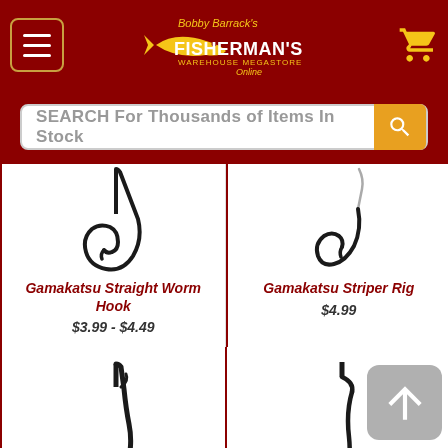[Figure (screenshot): Bobby Barrack's Fisherman's Warehouse Megastore Online header logo with hamburger menu and cart icon on dark red background]
SEARCH For Thousands of Items In Stock
[Figure (photo): Gamakatsu Straight Worm Hook product photo - black fishing hook]
Gamakatsu Straight Worm Hook
$3.99 - $4.49
[Figure (photo): Gamakatsu Striper Rig product photo - hook with leader line]
Gamakatsu Striper Rig
$4.99
[Figure (photo): Bottom row left: fishing hook product photo]
[Figure (photo): Bottom row right: fishing hook product photo]